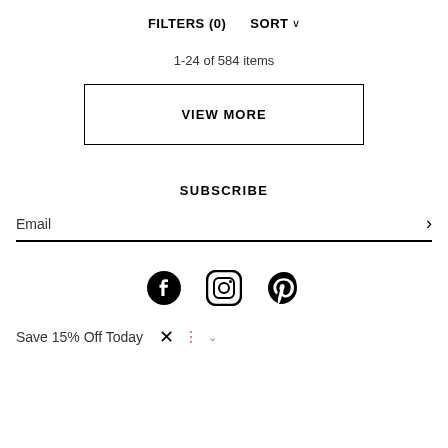FILTERS (0)   SORT
1-24 of 584 items
VIEW MORE
SUBSCRIBE
Email
[Figure (illustration): Social media icons: Facebook, Instagram, Pinterest]
Save 15% Off Today